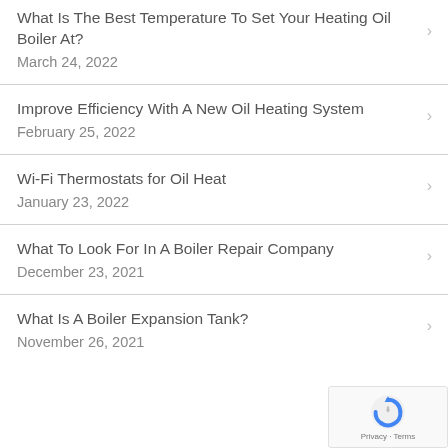What Is The Best Temperature To Set Your Heating Oil Boiler At?
March 24, 2022
Improve Efficiency With A New Oil Heating System
February 25, 2022
Wi-Fi Thermostats for Oil Heat
January 23, 2022
What To Look For In A Boiler Repair Company
December 23, 2021
What Is A Boiler Expansion Tank?
November 26, 2021